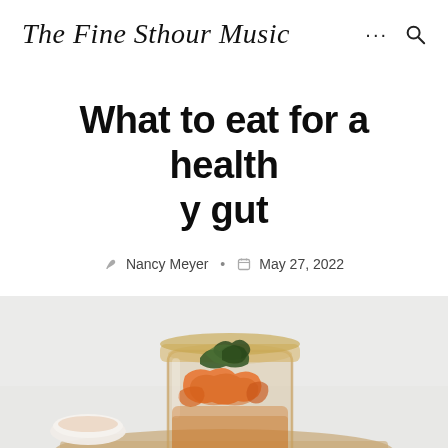The Fine Sthour Music
What to eat for a healthy gut
Nancy Meyer • May 27, 2022
[Figure (photo): A glass jar filled with kimchi (fermented vegetables including orange/red cabbage and dark leafy greens), placed on a wooden board with a small bowl of sauce visible to the left, on a light grey background.]